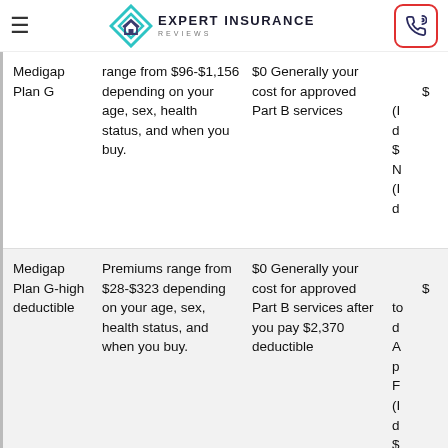Expert Insurance Reviews
| Plan | Premium | Part B Cost | Other |
| --- | --- | --- | --- |
| Medigap Plan G | Premiums range from $96-$1,156 depending on your age, sex, health status, and when you buy. | $0 Generally your cost for approved Part B services | $ (I d $ N (I d |
| Medigap Plan G-high deductible | Premiums range from $28-$323 depending on your age, sex, health status, and when you buy. | $0 Generally your cost for approved Part B services after you pay $2,370 deductible | $ t d A p F (I d $ |